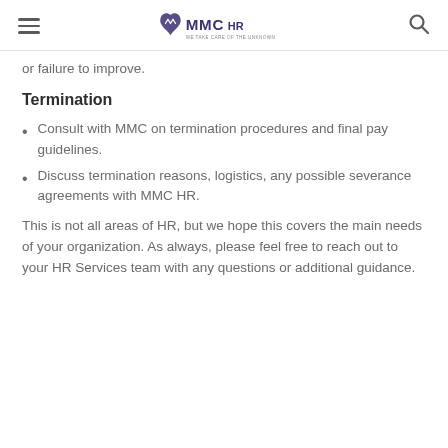MMC HR We Take Care of the Unknown
or failure to improve.
Termination
Consult with MMC on termination procedures and final pay guidelines.
Discuss termination reasons, logistics, any possible severance agreements with MMC HR.
This is not all areas of HR, but we hope this covers the main needs of your organization. As always, please feel free to reach out to your HR Services team with any questions or additional guidance.